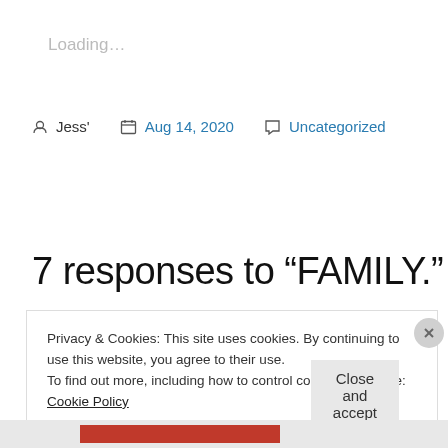Loading…
Jess'  Aug 14, 2020  Uncategorized
7 responses to “FAMILY.”
Privacy & Cookies: This site uses cookies. By continuing to use this website, you agree to their use.
To find out more, including how to control cookies, see here: Cookie Policy
Close and accept